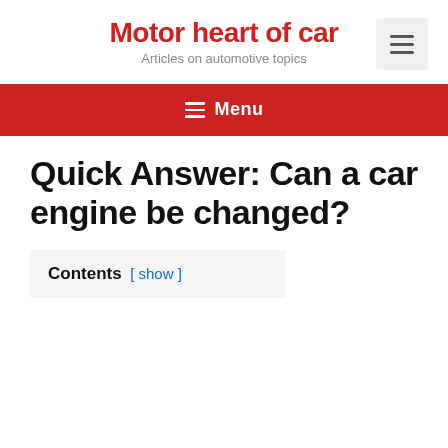Motor heart of car
Articles on automotive topics
≡ Menu
Quick Answer: Can a car engine be changed?
Contents [ show ]